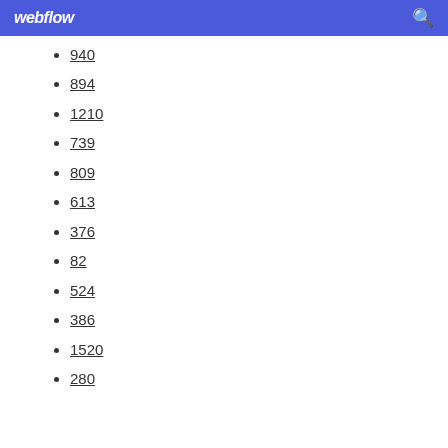webflow
940
894
1210
739
809
613
376
82
524
386
1520
280